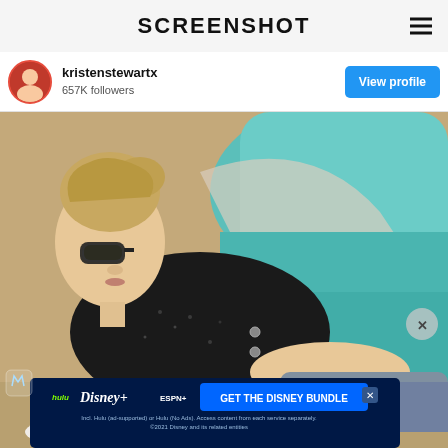SCREENSHOT
kristenstewartx
657K followers
View profile
[Figure (photo): Woman with blonde hair in a bun, wearing dark sunglasses and a black sequined jacket, reclining near a pool edge with teal water visible. She is wearing jeans. A Disney Bundle advertisement banner overlays the bottom of the image with Hulu, Disney+, and ESPN+ logos and the text 'GET THE DISNEY BUNDLE'. Small print reads: 'Incl. Hulu (ad-supported) or Hulu (No Ads). Access content from each service separately. ©2021 Disney and its related entities']